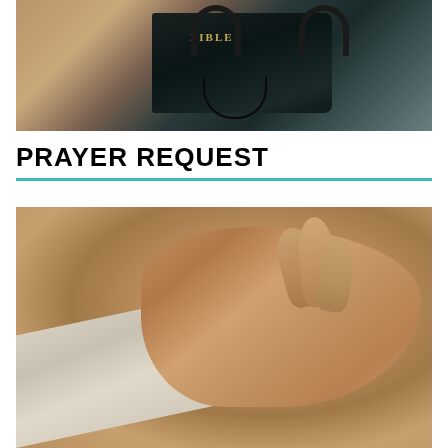[Figure (photo): Photo of a Holy Bible with headphones placed on top, resting on a wooden surface]
PRAYER REQUEST
[Figure (photo): Close-up photo of hands clasped together in prayer, resting on an open Bible]